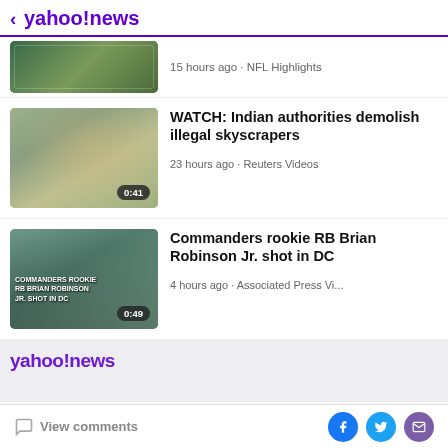< yahoo!news
15 hours ago · NFL Highlights
[Figure (screenshot): Video thumbnail showing NFL Highlights, duration badge not visible]
WATCH: Indian authorities demolish illegal skyscrapers
23 hours ago · Reuters Videos
[Figure (screenshot): Video thumbnail showing building demolition with dust clouds, duration 0:41]
Commanders rookie RB Brian Robinson Jr. shot in DC
4 hours ago · Associated Press Vi...
[Figure (screenshot): Video thumbnail showing street scene with police cars, duration 0:49]
View comments